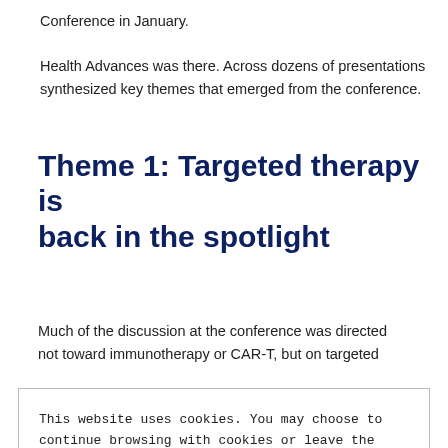Conference in January.
Health Advances was there. Across dozens of presentations synthesized key themes that emerged from the conference.
Theme 1: Targeted therapy is back in the spotlight
Much of the discussion at the conference was directed not toward immunotherapy or CAR-T, but on targeted
This website uses cookies. You may choose to continue browsing with cookies or leave the site.

Health Advances Privacy Policy
CLOSE AND ACCEPT
unselected) platinum-responsive patients when used as